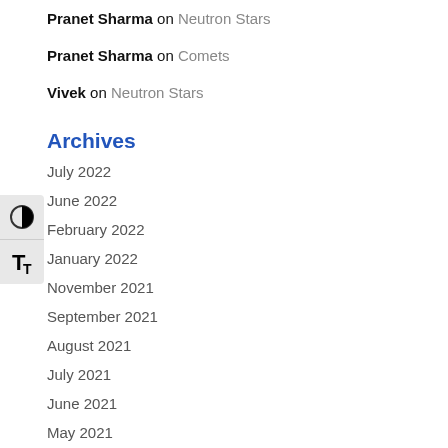Pranet Sharma on Neutron Stars
Pranet Sharma on Comets
Vivek on Neutron Stars
Archives
July 2022
June 2022
February 2022
January 2022
November 2021
September 2021
August 2021
July 2021
June 2021
May 2021